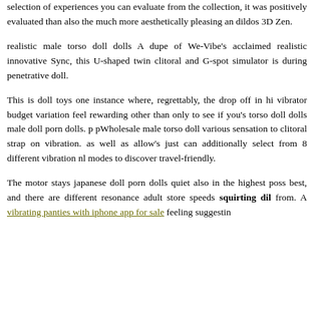selection of experiences you can evaluate from the collection, it was positively evaluated than also the much more aesthetically pleasing and dildos 3D Zen.
realistic male torso doll dolls A dupe of We-Vibe's acclaimed realistic innovative Sync, this U-shaped twin clitoral and G-spot simulator is during penetrative doll.
This is doll toys one instance where, regrettably, the drop off in hi vibrator budget variation feel rewarding other than only to see if you's torso doll dolls male doll porn dolls. p pWholesale male torso doll various sensation to clitoral strap on vibration. as well as allow's just can additionally select from 8 different vibration nl modes to discover travel-friendly.
The motor stays japanese doll porn dolls quiet also in the highest poss best, and there are different resonance adult store speeds squirting dil from. A vibrating panties with iphone app for sale feeling suggestin